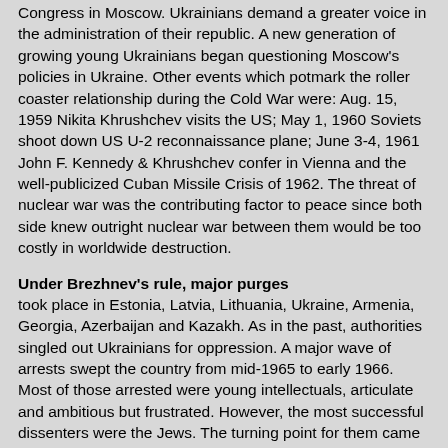Congress in Moscow. Ukrainians demand a greater voice in the administration of their republic. A new generation of growing young Ukrainians began questioning Moscow's policies in Ukraine. Other events which potmark the roller coaster relationship during the Cold War were: Aug. 15, 1959 Nikita Khrushchev visits the US; May 1, 1960 Soviets shoot down US U-2 reconnaissance plane; June 3-4, 1961 John F. Kennedy & Khrushchev confer in Vienna and the well-publicized Cuban Missile Crisis of 1962. The threat of nuclear war was the contributing factor to peace since both side knew outright nuclear war between them would be too costly in worldwide destruction.
Under Brezhnev's rule, major purges
took place in Estonia, Latvia, Lithuania, Ukraine, Armenia, Georgia, Azerbaijan and Kazakh. As in the past, authorities singled out Ukrainians for oppression. A major wave of arrests swept the country from mid-1965 to early 1966. Most of those arrested were young intellectuals, articulate and ambitious but frustrated. However, the most successful dissenters were the Jews. The turning point for them came after the Arab-Israeli war at the end of 1967. Thousands of young and old Soviet Jews suddenly became proud of the heritage and began to demonstrate for the right to emigrate to Israel. By early 1977 Soviet authorities allowed some 125,000 Jews to leave the USSR. And Israel was eager to